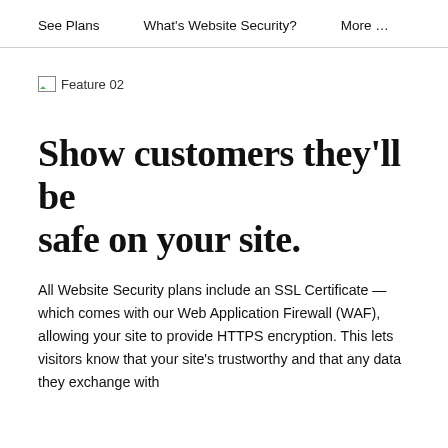See Plans    What's Website Security?    More …
[Figure (illustration): Broken image placeholder labeled 'Feature 02']
Show customers they'll be safe on your site.
All Website Security plans include an SSL Certificate — which comes with our Web Application Firewall (WAF), allowing your site to provide HTTPS encryption. This lets visitors know that your site's trustworthy and that any data they exchange with